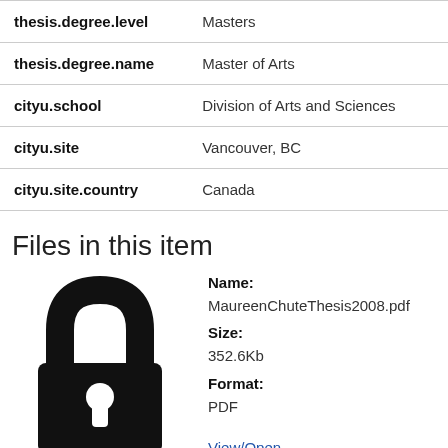| Field | Value |
| --- | --- |
| thesis.degree.level | Masters |
| thesis.degree.name | Master of Arts |
| cityu.school | Division of Arts and Sciences |
| cityu.site | Vancouver, BC |
| cityu.site.country | Canada |
Files in this item
[Figure (illustration): Black padlock icon representing a locked/restricted file]
Name: MaureenChuteThesis2008.pdf Size: 352.6Kb Format: PDF
View/Open